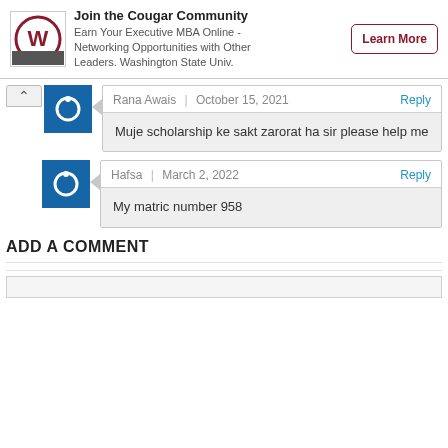[Figure (infographic): WSU advertisement banner with logo, text 'Join the Cougar Community - Earn Your Executive MBA Online - Networking Opportunities with Other Leaders. Washington State Univ.' and a 'Learn More' button.]
Rana Awais | October 15, 2021 Reply
Muje scholarship ke sakt zarorat ha sir please help me
Hafsa | March 2, 2022 Reply
My matric number 958
ADD A COMMENT